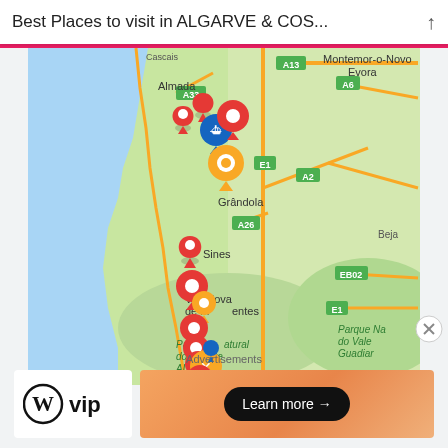Best Places to visit in ALGARVE & COS...
[Figure (map): Google Maps view of Portuguese coastline showing Algarve and Costa Vicentina region with location pins (red, blue, orange) marking tourist spots. Notable places visible: Almada, Montemor-o-Novo, Evora, Grândola, Sines, Vila Nova de Milfontes, Parque Natural do Sudoeste Alentejano e Costa Vicentina, Beja, Parque Nacional do Vale do Guadiana. Road labels: A13, A33, A6, A2, A26, E1, EB02.]
Advertisements
[Figure (logo): WordPress VIP logo — circle W icon followed by 'VIP' text in bold]
[Figure (infographic): Orange gradient advertisement banner with 'Learn more →' button in black rounded rectangle]